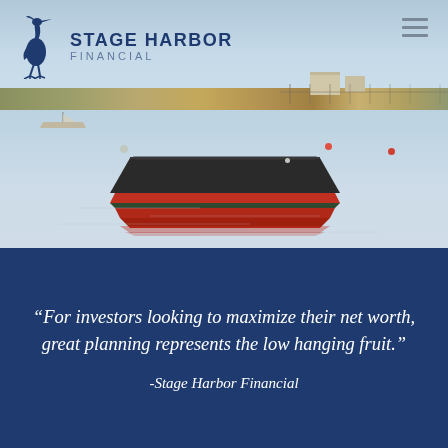[Figure (photo): Coastal harbor scene with a red and black wooden rowboat moored in calm water, with a distant shoreline, small buildings, and other boats in the background. Stage Harbor Financial logo overlaid in top left with a blue heron icon and the text STAGE HARBOR FINANCIAL. Hamburger menu icon in top right.]
“For investors looking to maximize their net worth, great planning represents the low hanging fruit.” -Stage Harbor Financial